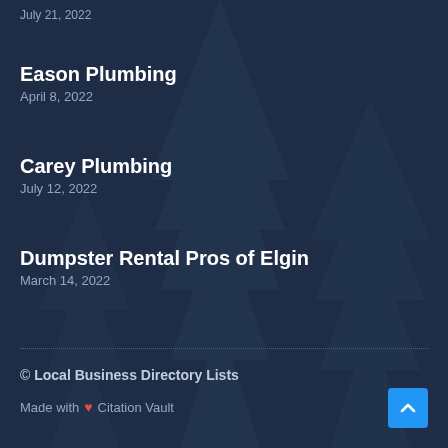Eason Plumbing
April 8, 2022
Carey Plumbing
July 12, 2022
Dumpster Rental Pros of Elgin
March 14, 2022
© Local Business Directory Lists
Made with ♥ Citation Vault